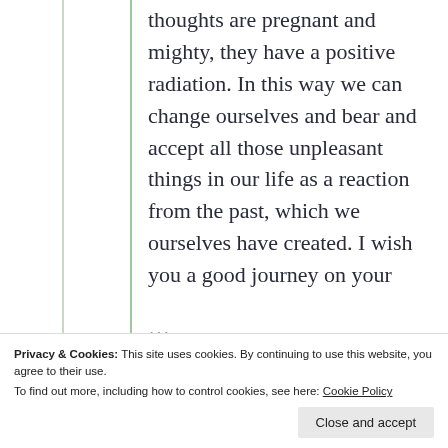thoughts are pregnant and mighty, they have a positive radiation. In this way we can change ourselves and bear and accept all those unpleasant things in our life as a reaction from the past, which we ourselves have created. I wish you a good journey on your
Privacy & Cookies: This site uses cookies. By continuing to use this website, you agree to their use.
To find out more, including how to control cookies, see here: Cookie Policy